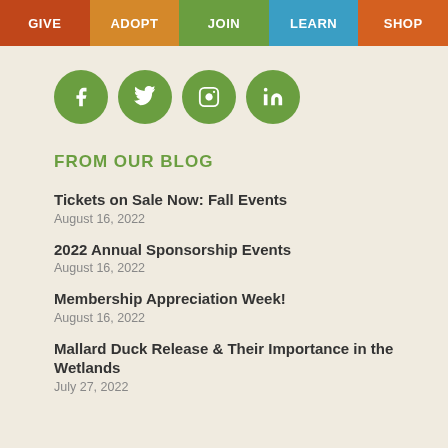GIVE  ADOPT  JOIN  LEARN  SHOP
[Figure (infographic): Four green circular social media icons: Facebook, Twitter, Instagram, LinkedIn]
FROM OUR BLOG
Tickets on Sale Now: Fall Events
August 16, 2022
2022 Annual Sponsorship Events
August 16, 2022
Membership Appreciation Week!
August 16, 2022
Mallard Duck Release & Their Importance in the Wetlands
July 27, 2022